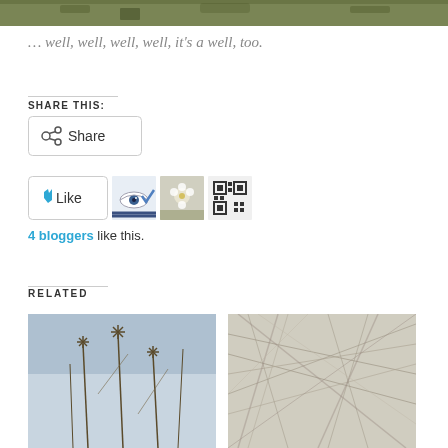[Figure (photo): Top cropped nature photo showing branches and foliage with green/brown tones]
… well, well, well, well, it's a well, too.
SHARE THIS:
[Figure (screenshot): Share button with share icon]
[Figure (screenshot): Like button with star icon and 4 blogger avatar thumbnails]
4 bloggers like this.
RELATED
[Figure (photo): Related photo: dried seed heads on thin stems against blue sky]
[Figure (photo): Related photo: tangled dry grassy fibers close-up]